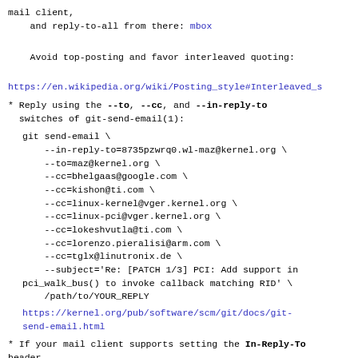mail client,
    and reply-to-all from there: mbox
Avoid top-posting and favor interleaved quoting:
https://en.wikipedia.org/wiki/Posting_style#Interleaved_s
* Reply using the --to, --cc, and --in-reply-to switches of git-send-email(1):
git send-email \
    --in-reply-to=8735pzwrq0.wl-maz@kernel.org \
    --to=maz@kernel.org \
    --cc=bhelgaas@google.com \
    --cc=kishon@ti.com \
    --cc=linux-kernel@vger.kernel.org \
    --cc=linux-pci@vger.kernel.org \
    --cc=lokeshvutla@ti.com \
    --cc=lorenzo.pieralisi@arm.com \
    --cc=tglx@linutronix.de \
    --subject='Re: [PATCH 1/3] PCI: Add support in pci_walk_bus() to invoke callback matching RID' \
    /path/to/YOUR_REPLY
https://kernel.org/pub/software/scm/git/docs/git-send-email.html
* If your mail client supports setting the In-Reply-To header
  via mailto: links, try the mailto: link